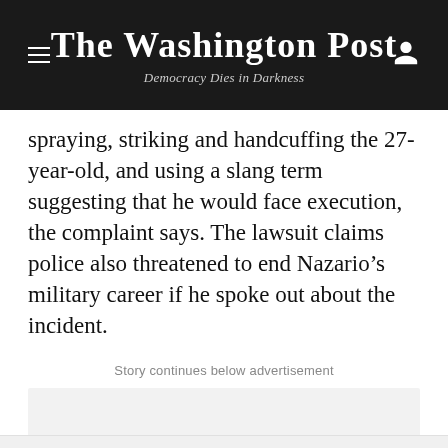The Washington Post
Democracy Dies in Darkness
spraying, striking and handcuffing the 27-year-old, and using a slang term suggesting that he would face execution, the complaint says. The lawsuit claims police also threatened to end Nazario’s military career if he spoke out about the incident.
Story continues below advertisement